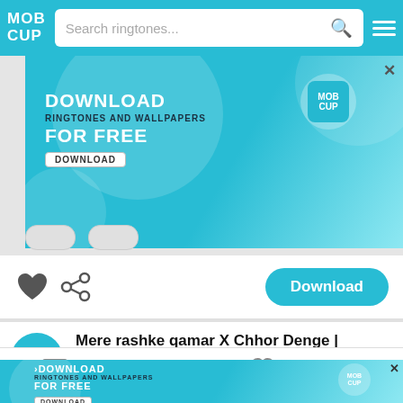MOB CUP — Search ringtones...
[Figure (screenshot): MobCup app advertisement banner: Download Ringtones and Wallpapers For Free, with Download button and MobCup logo circle.]
[Figure (infographic): Action row with heart (like) icon, share icon, and teal Download button on the right.]
Mere rashke qamar X Chhor Denge | Sachet & Parampara
30  Sec     1330  Downloads
Wallpaper  Ringtone  Favorite  Profile
[Figure (screenshot): MobCup advertisement banner at bottom: Download Ringtones and Wallpapers For Free with Download button.]